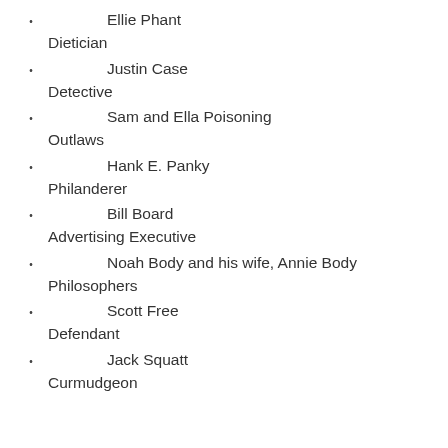Ellie Phant
Dietician
Justin Case
Detective
Sam and Ella Poisoning
Outlaws
Hank E. Panky
Philanderer
Bill Board
Advertising Executive
Noah Body and his wife, Annie Body
Philosophers
Scott Free
Defendant
Jack Squatt
Curmudgeon